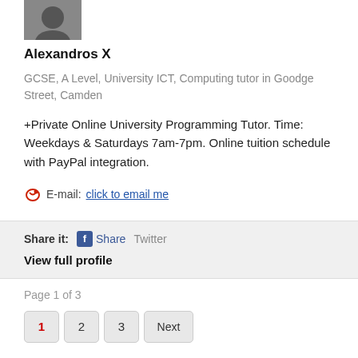[Figure (photo): Profile photo of Alexandros X, partially visible at top]
Alexandros X
GCSE, A Level, University ICT, Computing tutor in Goodge Street, Camden
+Private Online University Programming Tutor. Time: Weekdays & Saturdays 7am-7pm. Online tuition schedule with PayPal integration.
E-mail: click to email me
Share it:  Share  Twitter
View full profile
Page 1 of 3
1  2  3  Next
Private Tutors Near Camden